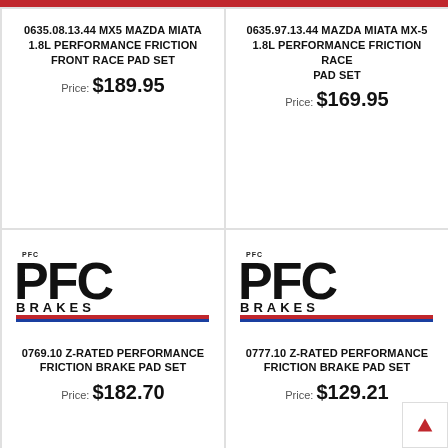0635.08.13.44 MX5 MAZDA MIATA 1.8L PERFORMANCE FRICTION FRONT RACE PAD SET
Price: $189.95
0635.97.13.44 MAZDA MIATA MX-5 1.8L PERFORMANCE FRICTION RACE PAD SET
Price: $169.95
[Figure (logo): PFC Brakes logo with red and blue stripes]
0769.10 Z-RATED PERFORMANCE FRICTION BRAKE PAD SET
Price: $182.70
[Figure (logo): PFC Brakes logo with red and blue stripes]
0777.10 Z-RATED PERFORMANCE FRICTION BRAKE PAD SET
Price: $129.21